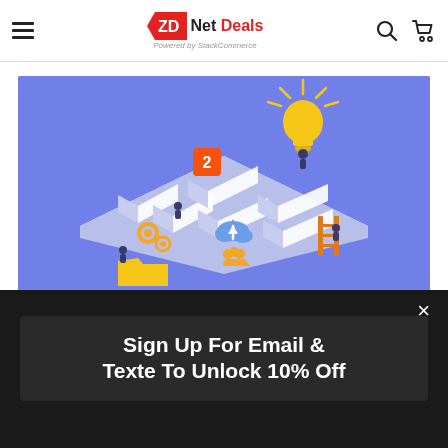ZDNet Deals — Powered by StackCommerce
[Figure (illustration): Isometric illustration of a white maze/labyrinth on a blue-purple background. Various characters and icons are shown navigating or working within the maze: a character holding a yellow lightbulb, a notification badge with '2', gear/cog icons, a cloud upload icon, a group of people icon, a ladder, a folder icon, and small human figures.]
Sign Up For Email & Texte To Unlock 10% Off